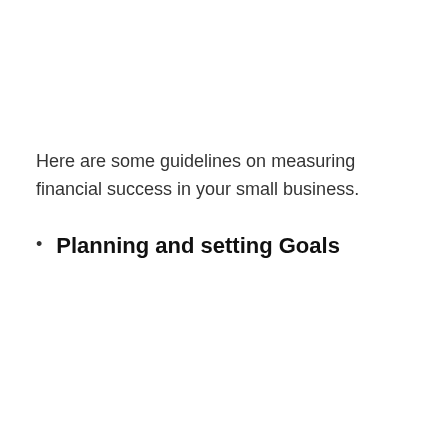Here are some guidelines on measuring financial success in your small business.
Planning and setting Goals